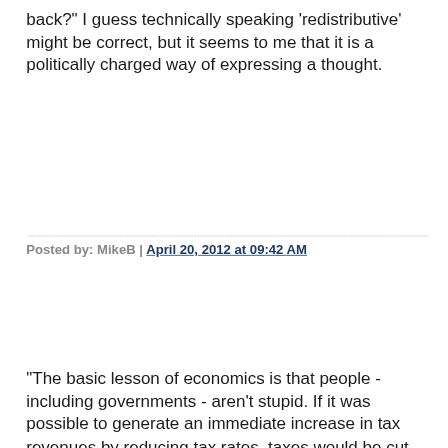back?" I guess technically speaking 'redistributive' might be correct, but it seems to me that it is a politically charged way of expressing a thought.
Posted by: MikeB | April 20, 2012 at 09:42 AM
"The basic lesson of economics is that people - including governments - aren't stupid. If it was possible to generate an immediate increase in tax revenues by reducing tax rates, taxes would be cut instantly."
Well, we know that's not true, at least based on the empirical